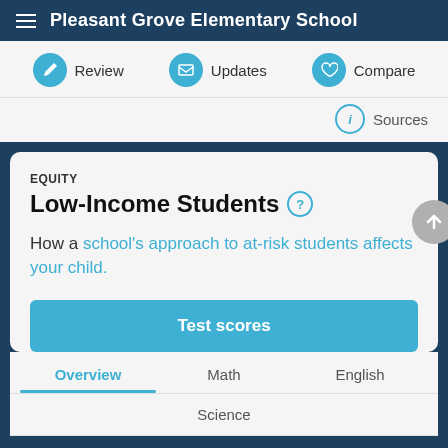Pleasant Grove Elementary School
Review | Updates | Compare
Sources
EQUITY
Low-Income Students
How a school's approach to at-risk students affects your child.
Test scores
Overview | Math | English | Science